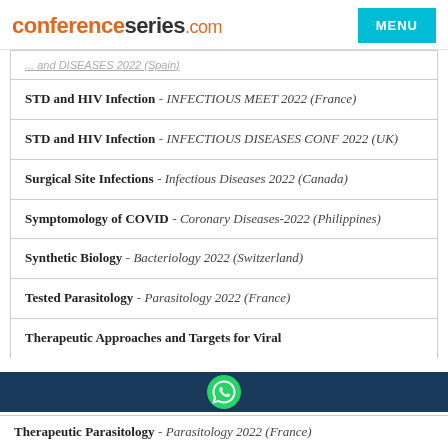conferenceseries.com
STD and HIV Infection - INFECTIOUS MEET 2022 (France)
STD and HIV Infection - INFECTIOUS DISEASES CONF 2022 (UK)
Surgical Site Infections - Infectious Diseases 2022 (Canada)
Symptomology of COVID - Coronary Diseases-2022 (Philippines)
Synthetic Biology - Bacteriology 2022 (Switzerland)
Tested Parasitology - Parasitology 2022 (France)
Therapeutic Approaches and Targets for Viral
Therapeutic Parasitology - Parasitology 2022 (France)